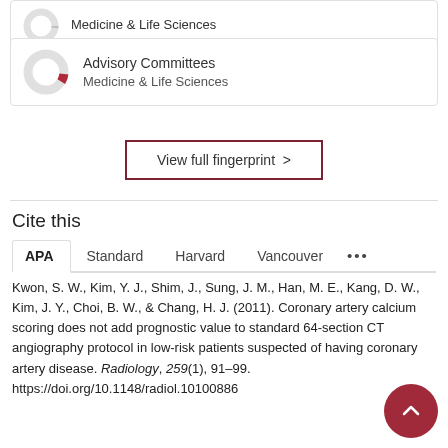[Figure (donut-chart): Donut chart icon partially filled with red, representing a small percentage. Labeled 'Advisory Committees' with subtitle 'Medicine & Life Sciences'.]
Advisory Committees
Medicine & Life Sciences
View full fingerprint >
Cite this
APA  Standard  Harvard  Vancouver  ...
Kwon, S. W., Kim, Y. J., Shim, J., Sung, J. M., Han, M. E., Kang, D. W., Kim, J. Y., Choi, B. W., & Chang, H. J. (2011). Coronary artery calcium scoring does not add prognostic value to standard 64-section CT angiography protocol in low-risk patients suspected of having coronary artery disease. Radiology, 259(1), 91–99. https://doi.org/10.1148/radiol.10100886